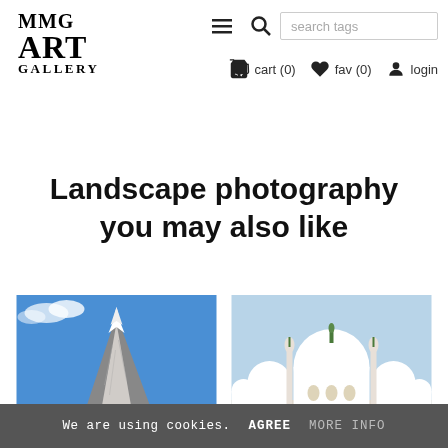MMG ART GALLERY — navigation with cart (0), fav (0), login, search tags
Landscape photography you may also like
[Figure (photo): Snow-capped mountain peak against blue sky]
[Figure (photo): White domed mosque architecture (Sheikh Zayed Grand Mosque style) against light blue sky]
We are using cookies. AGREE MORE INFO